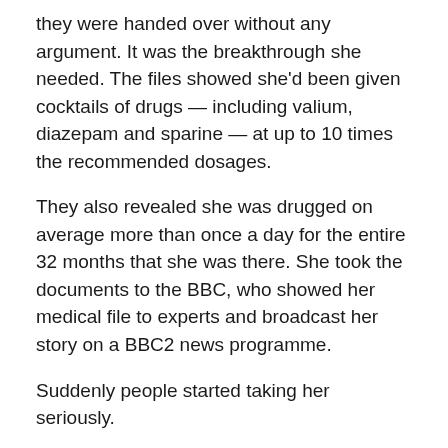they were handed over without any argument. It was the breakthrough she needed. The files showed she'd been given cocktails of drugs — including valium, diazepam and sparine — at up to 10 times the recommended dosages.
They also revealed she was drugged on average more than once a day for the entire 32 months that she was there. She took the documents to the BBC, who showed her medical file to experts and broadcast her story on a BBC2 news programme.
Suddenly people started taking her seriously.
[Figure (photo): Black and white / desaturated photograph of a young girl with hair in a braid, looking downward, against a light background]